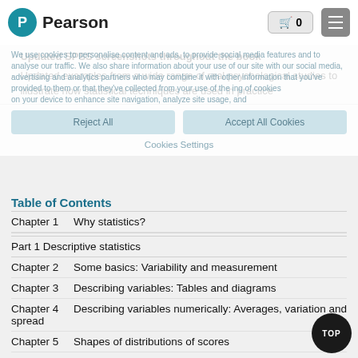[Figure (screenshot): Pearson website navigation bar with logo, shopping cart button showing 0 items, and hamburger menu button]
Updated SPSS screenshots throughout the book
Updated examples from a wide range of real psychological studies to illustrate how statistical techniques are used in practice
Table of Contents
Chapter 1   Why statistics?
Part 1  Descriptive statistics
Chapter 2   Some basics: Variability and measurement
Chapter 3   Describing variables: Tables and diagrams
Chapter 4   Describing variables numerically: Averages, variation and spread
Chapter 5   Shapes of distributions of scores
Chapter 6   Standard deviation and z-scores: Standard unit of measurement in statistics